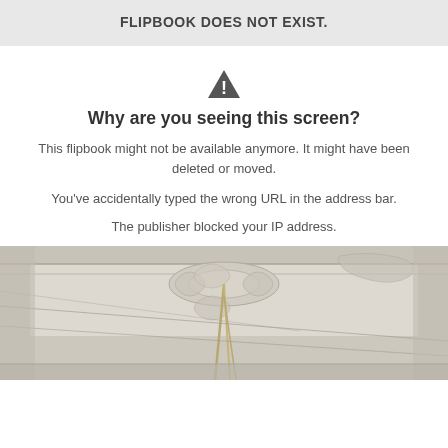FLIPBOOK DOES NOT EXIST.
[Figure (illustration): Warning triangle / exclamation mark icon]
Why are you seeing this screen?
This flipbook might not be available anymore. It might have been deleted or moved.
You've accidentally typed the wrong URL in the address bar.
The publisher blocked your IP address.
[Figure (photo): Decorative ceiling with ornate plasterwork molding and chandelier chains, photographed in a light grey/white tone.]